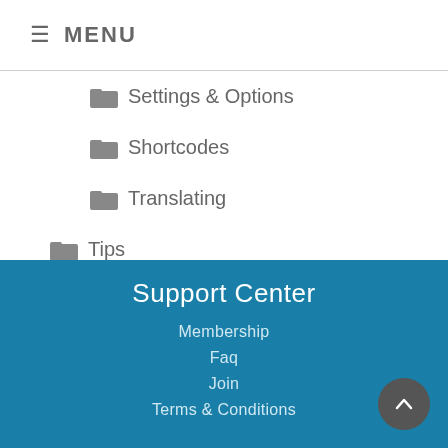≡ MENU
Settings & Options
Shortcodes
Translating
Tips
Troubleshooting
Support Center
Membership
Faq
Join
Terms & Conditions